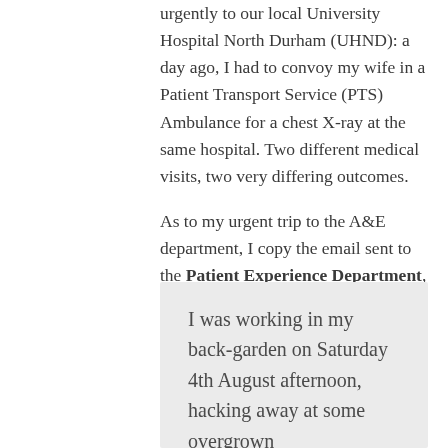urgently to our local University Hospital North Durham (UHND): a day ago, I had to convoy my wife in a Patient Transport Service (PTS) Ambulance for a chest X-ray at the same hospital. Two different medical visits, two very differing outcomes.
As to my urgent trip to the A&E department, I copy the email sent to the Patient Experience Department, (their title, not mine):-
I was working in my back-garden on Saturday 4th August afternoon, hacking away at some overgrown